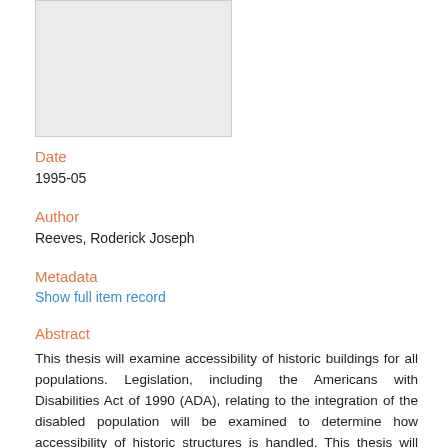[Figure (other): Gray placeholder image box at top left of the page]
Date
1995-05
Author
Reeves, Roderick Joseph
Metadata
Show full item record
Abstract
This thesis will examine accessibility of historic buildings for all populations. Legislation, including the Americans with Disabilities Act of 1990 (ADA), relating to the integration of the disabled population will be examined to determine how accessibility of historic structures is handled. This thesis will then develop practical measures that can be used by local communities to preserve a building while allowing it to be enjoyed by all. A community's